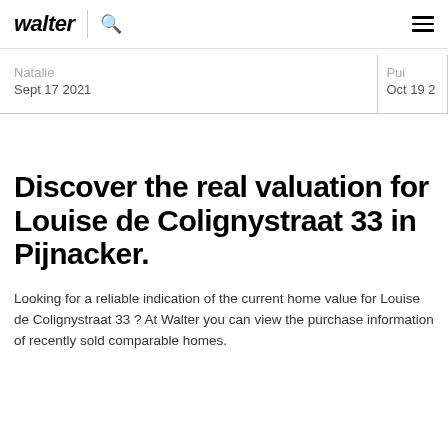walter | search | menu
Natalie
Sept 17 2021
Pui
Oct 19 2
Discover the real valuation for Louise de Colignystraat 33 in Pijnacker.
Looking for a reliable indication of the current home value for Louise de Colignystraat 33 ? At Walter you can view the purchase information of recently sold comparable homes.